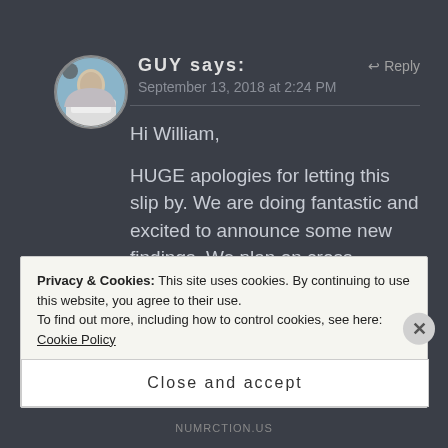[Figure (photo): Circular avatar photo of a person outdoors with a blue sky background]
GUY says:
Reply
September 13, 2018 at 2:24 PM
Hi William,
HUGE apologies for letting this slip by. We are doing fantastic and excited to announce some new findings. We plan on cross verifying and digging a bit deeper to ensure what we reveal is 100% solid. Stay
Privacy & Cookies: This site uses cookies. By continuing to use this website, you agree to their use.
To find out more, including how to control cookies, see here: Cookie Policy
Close and accept